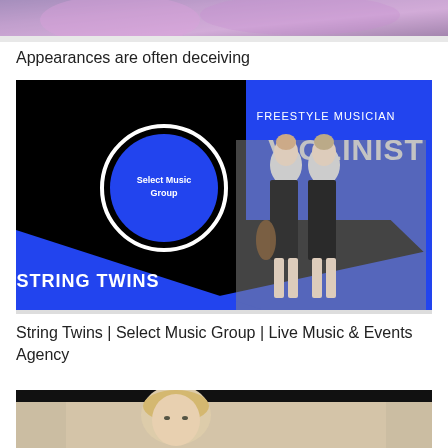[Figure (photo): Partial top image, cropped, showing colorful pink/purple tones, appears to be a person with pink hair or costume]
Appearances are often deceiving
[Figure (illustration): Promotional image for String Twins from Select Music Group. Black background with blue geometric shapes. Text reads FREESTYLE MUSICIAN VIOLINIST at top right in blue panel. A circular logo with white ring on left reads Select Music Group. Two women in black outfits are shown. Bottom left blue triangle area reads STRING TWINS in bold white text.]
String Twins | Select Music Group | Live Music & Events Agency
[Figure (photo): Bottom partial image showing a person with blonde hair, appears to be indoors, cropped at bottom of page]